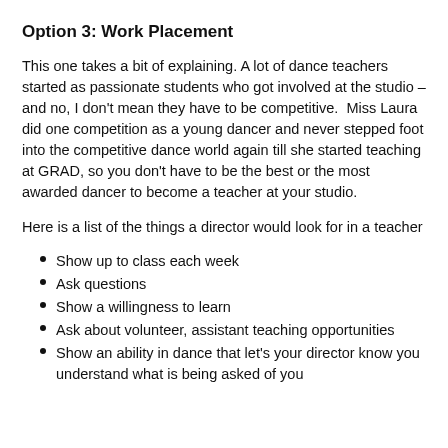Option 3: Work Placement
This one takes a bit of explaining. A lot of dance teachers started as passionate students who got involved at the studio – and no, I don't mean they have to be competitive.  Miss Laura did one competition as a young dancer and never stepped foot into the competitive dance world again till she started teaching at GRAD, so you don't have to be the best or the most awarded dancer to become a teacher at your studio.
Here is a list of the things a director would look for in a teacher
Show up to class each week
Ask questions
Show a willingness to learn
Ask about volunteer, assistant teaching opportunities
Show an ability in dance that let's your director know you understand what is being asked of you